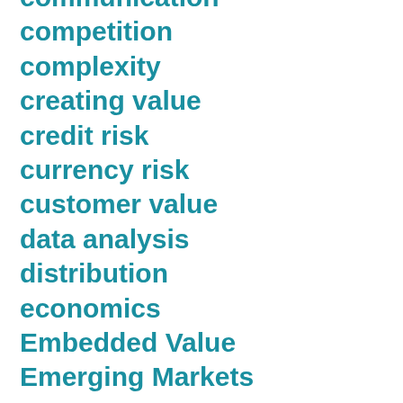communication
competition
complexity
creating value
credit risk
currency risk
customer value
data analysis
distribution
economics
Embedded Value
Emerging Markets